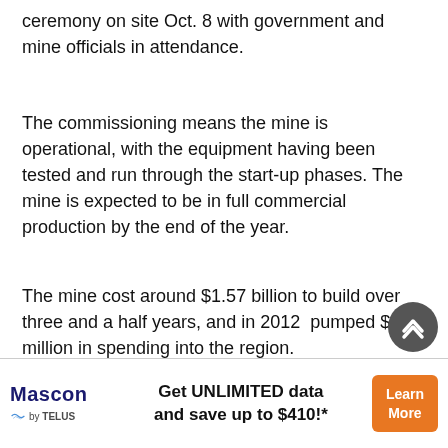ceremony on site Oct. 8 with government and mine officials in attendance.
The commissioning means the mine is operational, with the equipment having been tested and run through the start-up phases. The mine is expected to be in full commercial production by the end of the year.
The mine cost around $1.57 billion to build over three and a half years, and in 2012  pumped $125 million in spending into the region.
Dennis Hoof, Mount Milligan vice president and general manager spoke at the event about the rapid development of the...
[Figure (other): Advertisement banner for Mascon by TELUS: Get UNLIMITED data and save up to $410!* with Learn More button]